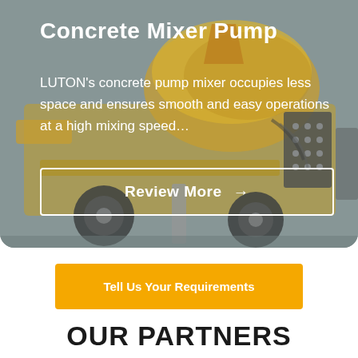[Figure (photo): Concrete mixer pump machine (yellow/orange) with mixing drum, control panel, wheels, and hydraulic components on a grey background]
Concrete Mixer Pump
LUTON's concrete pump mixer occupies less space and ensures smooth and easy operations at a high mixing speed…
Review More →
Tell Us Your Requirements
OUR PARTNERS